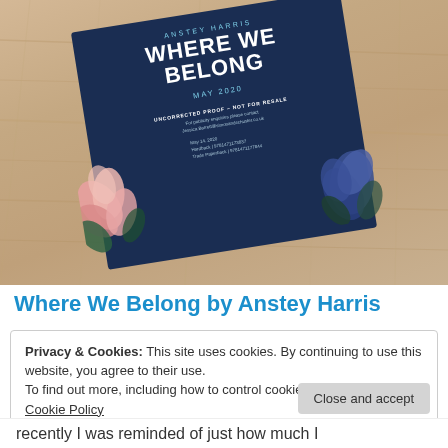[Figure (photo): A photo of a book advance reading copy / proof card for 'Where We Belong by Anstey Harris', May 2020, on a wooden surface. The navy blue card shows the book title in large white uppercase letters, decorated with pink and blue floral illustrations. Text on card reads: UNCORRECTED PROOF – NOT FOR RESALE, For publicity enquiries please contact Jessica.Barrett@simonandschuster.co.uk, May 14, 2020, Hardback | 9781471173837, Trade Paperback | 9781471177844]
Where We Belong by Anstey Harris
Privacy & Cookies: This site uses cookies. By continuing to use this website, you agree to their use.
To find out more, including how to control cookies, see here:
Cookie Policy
Close and accept
recently I was reminded of just how much I